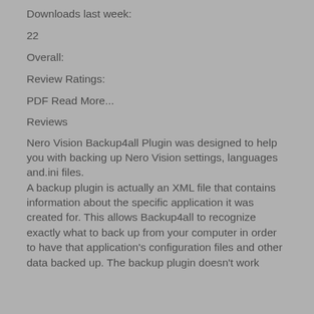Downloads last week:
22
Overall:
Review Ratings:
PDF Read More...
Reviews
Nero Vision Backup4all Plugin was designed to help you with backing up Nero Vision settings, languages and.ini files.
A backup plugin is actually an XML file that contains information about the specific application it was created for. This allows Backup4all to recognize exactly what to back up from your computer in order to have that application's configuration files and other data backed up. The backup plugin doesn't work